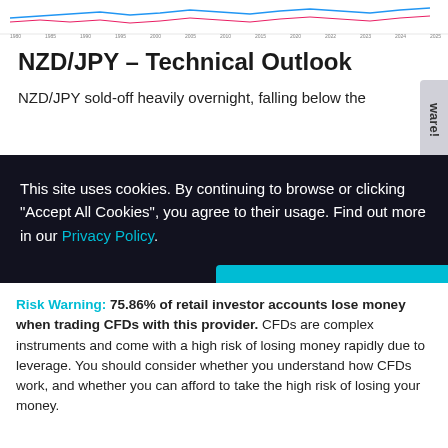[Figure (screenshot): Partial chart strip at the top of the page showing a financial chart (NZD/JPY) with axis labels along the bottom]
NZD/JPY – Technical Outlook
NZD/JPY sold-off heavily overnight, falling below the
This site uses cookies. By continuing to browse or clicking "Accept All Cookies", you agree to their usage. Find out more in our Privacy Policy.
More options
Accept All Cookies
Risk Warning: 75.86% of retail investor accounts lose money when trading CFDs with this provider. CFDs are complex instruments and come with a high risk of losing money rapidly due to leverage. You should consider whether you understand how CFDs work, and whether you can afford to take the high risk of losing your money.